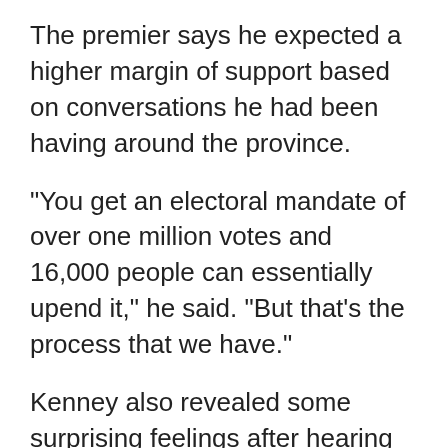The premier says he expected a higher margin of support based on conversations he had been having around the province.
"You get an electoral mandate of over one million votes and 16,000 people can essentially upend it," he said. "But that's the process that we have."
Kenney also revealed some surprising feelings after hearing the vote results from the UCP party president.
"I have to tell you, the first thought that went through my mind was a little bit of relief," he said.
"I've been in elected life for 25 years, and it was